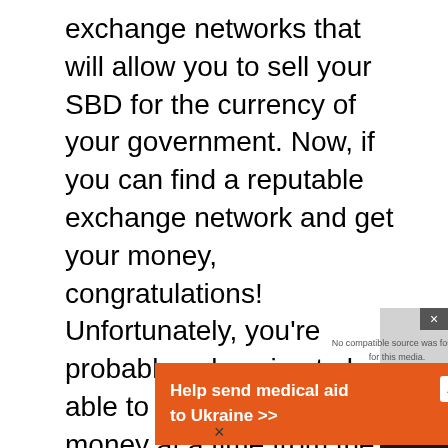exchange networks that will allow you to sell your SBD for the currency of your government. Now, if you can find a reputable exchange network and get your money, congratulations! Unfortunately, you're probably only going to be able to get a little bit of money at a time from the network. This is because there's only so much money guaranteed to be spent on your individual type of cryptocurrency.
Most networks have a reserve of a couple hundred dollars sitting there that can be used to purchase SBD. However, some, like
[Figure (screenshot): Orange advertisement banner reading 'Help send medical aid to Ukraine >>' with DirectRelief logo on right side, overlaid on a video player showing 'No compatible source was found for this media' message and a green background with 'LIKE PRO' text. Bottom right has a dark bar with 'FREE | MAKE MONEY ONLINE' text.]